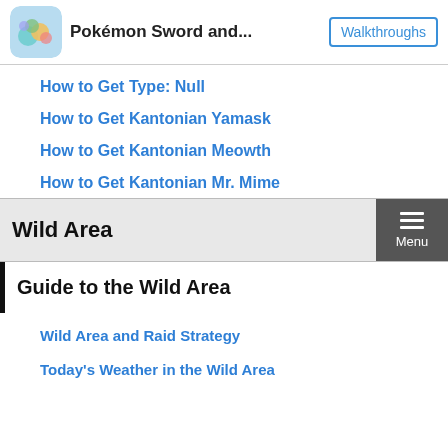Pokémon Sword and... | Walkthroughs
How to Get Type: Null
How to Get Kantonian Yamask
How to Get Kantonian Meowth
How to Get Kantonian Mr. Mime
Wild Area
Guide to the Wild Area
Wild Area and Raid Strategy
Today's Weather in the Wild Area